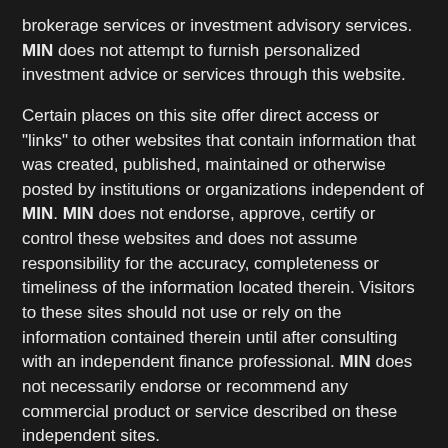brokerage services or investment advisory services. MIN does not attempt to furnish personalized investment advice or services through this website.
Certain places on this site offer direct access or "links" to other websites that contain information that was created, published, maintained or otherwise posted by institutions or organizations independent of MIN. MIN does not endorse, approve, certify or control these websites and does not assume responsibility for the accuracy, completeness or timeliness of the information located therein. Visitors to these sites should not use or rely on the information contained therein until after consulting with an independent finance professional. MIN does not necessarily endorse or recommend any commercial product or service described on these independent sites.
For informational only and is not a recommendation. MIN is a wholly owned subsidiary of Hilltop Holdings, Inc., (NYSE:HTH) with offices at 717 N. Harwood Street, Suite 3400, Dallas, TX 75201, (214) 859-1800. Past performance is